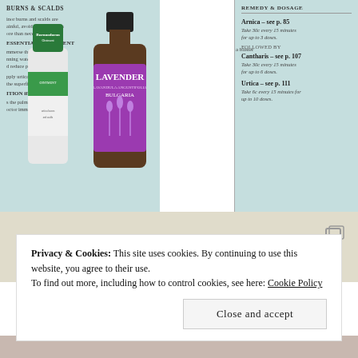[Figure (photo): Photo of a homeopathy/natural remedy book open to a page about Burns & Scalds showing remedy names (Arnica, Cantharis, Urtica) with dosage instructions, alongside a tube of Burnuoduron Ointment and a small brown bottle of Lavender Pure Essential Oil.]
[Figure (photo): Partial view of a second image below, showing a beige/cream background with a gallery/copy icon in the upper right corner.]
Privacy & Cookies: This site uses cookies. By continuing to use this website, you agree to their use.
To find out more, including how to control cookies, see here: Cookie Policy
Close and accept